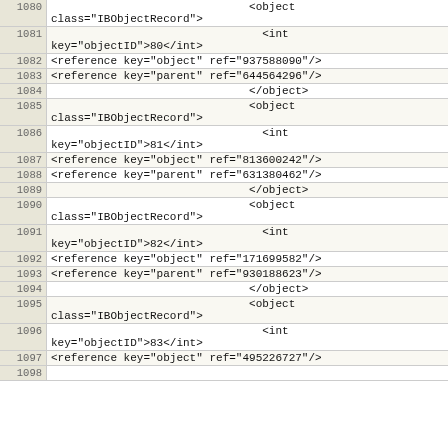| line | code |
| --- | --- |
| 1080 |                               <object
class="IBObjectRecord"> |
| 1081 |                                 <int
key="objectID">80</int> |
| 1082 | <reference key="object" ref="937588090"/> |
| 1083 | <reference key="parent" ref="644564296"/> |
| 1084 |                               </object> |
| 1085 |                               <object
class="IBObjectRecord"> |
| 1086 |                                 <int
key="objectID">81</int> |
| 1087 | <reference key="object" ref="813600242"/> |
| 1088 | <reference key="parent" ref="631380462"/> |
| 1089 |                               </object> |
| 1090 |                               <object
class="IBObjectRecord"> |
| 1091 |                                 <int
key="objectID">82</int> |
| 1092 | <reference key="object" ref="171699582"/> |
| 1093 | <reference key="parent" ref="930188623"/> |
| 1094 |                               </object> |
| 1095 |                               <object
class="IBObjectRecord"> |
| 1096 |                                 <int
key="objectID">83</int> |
| 1097 | <reference key="object" ref="495226727"/> |
| 1098 |  |